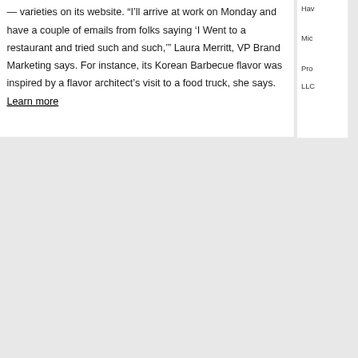— varieties on its website. “I’ll arrive at work on Monday and have a couple of emails from folks saying ‘I Went to a restaurant and tried such and such,’” Laura Merritt, VP Brand Marketing says. For instance, its Korean Barbecue flavor was inspired by a flavor architect’s visit to a food truck, she says.
Learn more
Hav
Mic
Pro
LLC